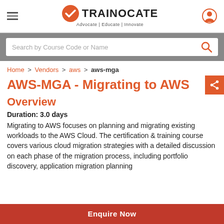[Figure (logo): Trainocate logo with orange circle checkmark icon and text 'TRAINOCATE Advocate | Educate | Innovate']
[Figure (screenshot): Search bar with placeholder 'Search by Course Code or Name' and orange search icon, on grey background]
Home > Vendors > aws > aws-mga
AWS-MGA - Migrating to AWS
Overview
Duration: 3.0 days
Migrating to AWS focuses on planning and migrating existing workloads to the AWS Cloud. The certification & training course covers various cloud migration strategies with a detailed discussion on each phase of the migration process, including portfolio discovery, application migration planning
Enquire Now